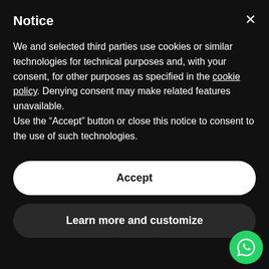Notice
We and selected third parties use cookies or similar technologies for technical purposes and, with your consent, for other purposes as specified in the cookie policy. Denying consent may make related features unavailable.
Use the "Accept" button or close this notice to consent to the use of such technologies.
Accept
Learn more and customize
Transfer.
The delivery of the products on the European territory is carried out through the Express Courier chosen by sartorialionora.com. Shipments take place from Monday to Friday, excluding national holidays. From the moment you place your order